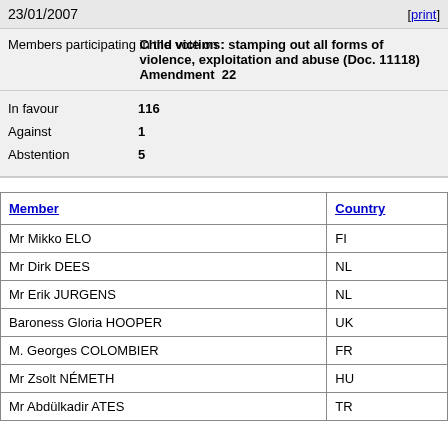23/01/2007    [print]
Members participating in the vote on : Child victims: stamping out all forms of violence, exploitation and abuse (Doc. 11118) Amendment 22
| In favour | 116 |
| Against | 1 |
| Abstention | 5 |
| Member | Country |
| --- | --- |
| Mr Mikko ELO | FI |
| Mr Dirk DEES | NL |
| Mr Erik JURGENS | NL |
| Baroness Gloria HOOPER | UK |
| M. Georges COLOMBIER | FR |
| Mr Zsolt NÉMETH | HU |
| Mr Abdülkadir ATES | TR |